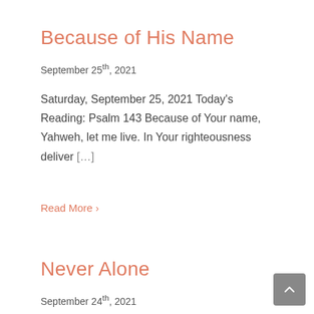Because of His Name
September 25th, 2021
Saturday, September 25, 2021 Today's Reading: Psalm 143 Because of Your name, Yahweh, let me live. In Your righteousness deliver [...]
Read More ›
Never Alone
September 24th, 2021